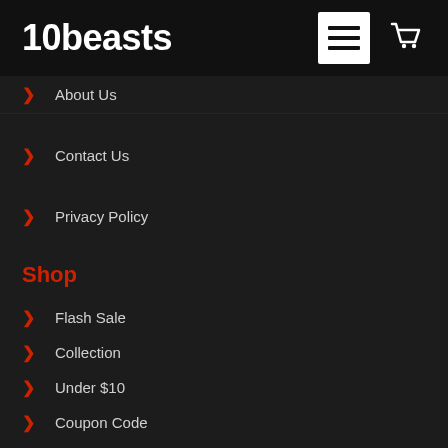10beasts
About Us
Contact Us
Privacy Policy
Shop
Flash Sale
Collection
Under $10
Coupon Code